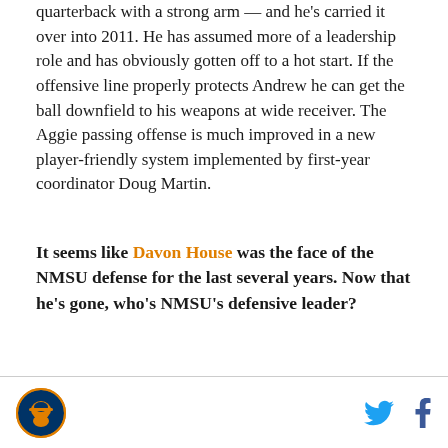quarterback with a strong arm — and he's carried it over into 2011. He has assumed more of a leadership role and has obviously gotten off to a hot start. If the offensive line properly protects Andrew he can get the ball downfield to his weapons at wide receiver. The Aggie passing offense is much improved in a new player-friendly system implemented by first-year coordinator Doug Martin.
It seems like Davon House was the face of the NMSU defense for the last several years. Now that he's gone, who's NMSU's defensive leader?
[Figure (logo): NMSU Aggies circular logo with orange and blue colors]